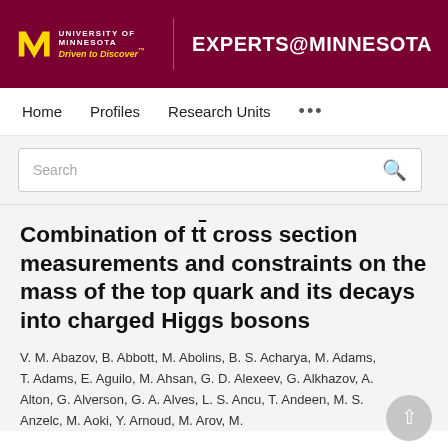UNIVERSITY OF MINNESOTA Driven to Discover® EXPERTS@MINNESOTA
Home   Profiles   Research Units   •••
Search
Combination of tt̄ cross section measurements and constraints on the mass of the top quark and its decays into charged Higgs bosons
V. M. Abazov, B. Abbott, M. Abolins, B. S. Acharya, M. Adams, T. Adams, E. Aguilo, M. Ahsan, G. D. Alexeev, G. Alkhazov, A. Alton, G. Alverson, G. A. Alves, L. S. Ancu, T. Andeen, M. S. Anzelc, M. Aoki, Y. Arnoud, M. Arov, M.